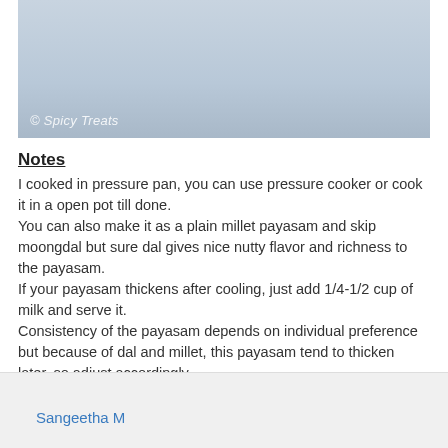[Figure (photo): Food photo with watermark '© Spicy Treats' overlaid on lower-left corner. Background shows soft blue-grey tones.]
Notes
I cooked in pressure pan, you can use pressure cooker or cook it in a open pot till done.
You can also make it as a plain millet payasam and skip moongdal but sure dal gives nice nutty flavor and richness to the payasam.
If your payasam thickens after cooling, just add 1/4-1/2 cup of milk and serve it.
Consistency of the payasam depends on individual preference but because of dal and millet, this payasam tend to thicken later, so adjust accordingly.
Adding fresh ghee roasted coconut pieces gives nice flavor and crunch to the payasam but it is optional.
Sangeetha M